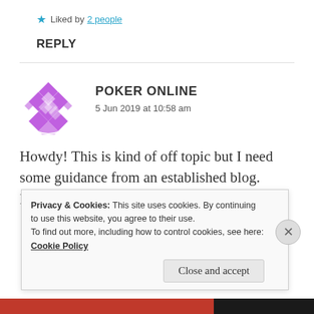★ Liked by 2 people
REPLY
[Figure (illustration): Purple geometric diamond/quilt pattern avatar for POKER ONLINE commenter]
POKER ONLINE
5 Jun 2019 at 10:58 am
Howdy! This is kind of off topic but I need some guidance from an established blog.
Is it difficult to set up your own blog? I'm not
Privacy & Cookies: This site uses cookies. By continuing to use this website, you agree to their use.
To find out more, including how to control cookies, see here: Cookie Policy
Close and accept